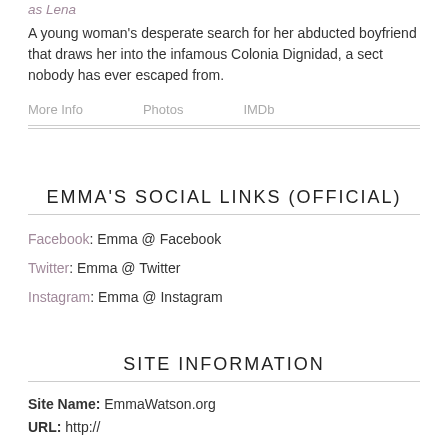as Lena
A young woman's desperate search for her abducted boyfriend that draws her into the infamous Colonia Dignidad, a sect nobody has ever escaped from.
More Info
Photos
IMDb
EMMA'S SOCIAL LINKS (OFFICIAL)
Facebook: Emma @ Facebook
Twitter: Emma @ Twitter
Instagram: Emma @ Instagram
SITE INFORMATION
Site Name: EmmaWatson.org
URL: http://...